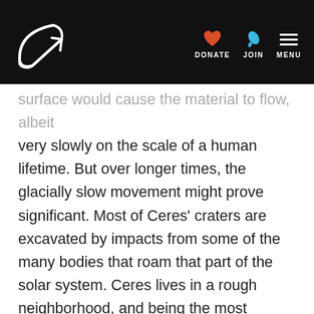DONATE JOIN MENU
surface would cause the material to flow, albeit very slowly on the scale of a human lifetime. But over longer times, the glacially slow movement might prove significant. Most of Ceres' craters are excavated by impacts from some of the many bodies that roam that part of the solar system. Ceres lives in a rough neighborhood, and being the most massive body between Mars and Jupiter does not give it immunity to assaults. Indeed, its gravity makes it even more susceptible, attracting passersby. But once a crater is formed, the scar